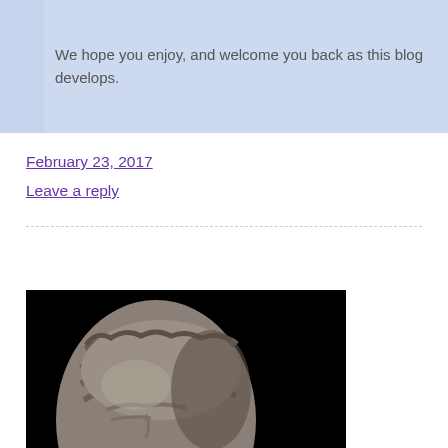We hope you enjoy, and welcome you back as this blog develops.
February 23, 2017
Leave a reply
[Figure (photo): Close-up photograph of a stone Buddha statue head against a black background, showing detailed carved hair and facial features]